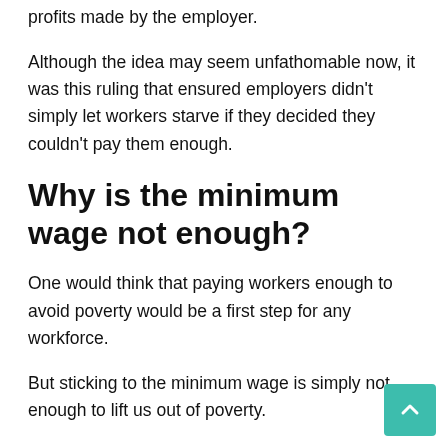profits made by the employer.
Although the idea may seem unfathomable now, it was this ruling that ensured employers didn't simply let workers starve if they decided they couldn't pay them enough.
Why is the minimum wage not enough?
One would think that paying workers enough to avoid poverty would be a first step for any workforce.
But sticking to the minimum wage is simply not enough to lift us out of poverty.